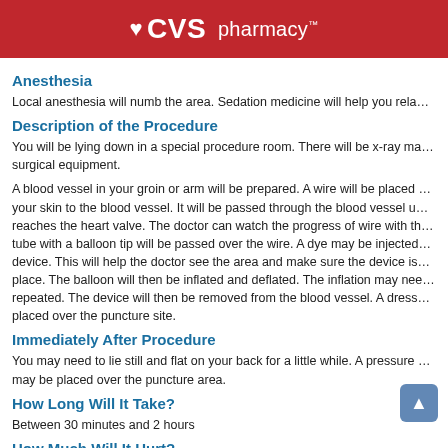CVS pharmacy
Anesthesia
Local anesthesia will numb the area. Sedation medicine will help you rela…
Description of the Procedure
You will be lying down in a special procedure room. There will be x-ray ma… surgical equipment.
A blood vessel in your groin or arm will be prepared. A wire will be placed … your skin to the blood vessel. It will be passed through the blood vessel u… reaches the heart valve. The doctor can watch the progress of wire with th… tube with a balloon tip will be passed over the wire. A dye may be injected… device. This will help the doctor see the area and make sure the device is… place. The balloon will then be inflated and deflated. The inflation may nee… repeated. The device will then be removed from the blood vessel. A dress… placed over the puncture site.
Immediately After Procedure
You may need to lie still and flat on your back for a little while. A pressure … may be placed over the puncture area.
How Long Will It Take?
Between 30 minutes and 2 hours
How Much Will It Hurt?